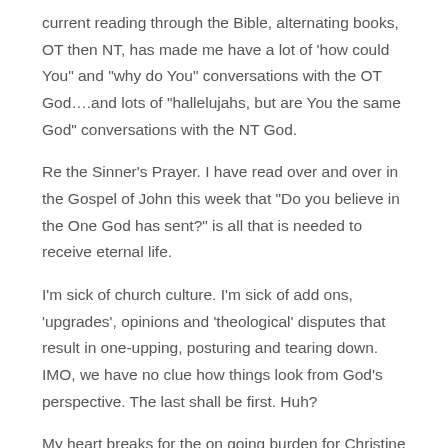current reading through the Bible, alternating books, OT then NT, has made me have a lot of 'how could You" and "why do You" conversations with the OT God….and lots of "hallelujahs, but are You the same God" conversations with the NT God.
Re the Sinner's Prayer. I have read over and over in the Gospel of John this week that "Do you believe in the One God has sent?" is all that is needed to receive eternal life.
I'm sick of church culture. I'm sick of add ons, 'upgrades', opinions and 'theological' disputes that result in one-upping, posturing and tearing down. IMO, we have no clue how things look from God's perspective. The last shall be first. Huh?
My heart breaks for the on going burden for Christine Scheller or any parent or loved one who lost a beloved to suicide. Those whom I personally know who have walked this path are permanently broken inside.